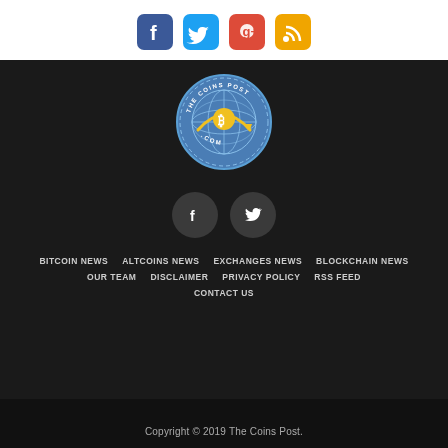[Figure (other): Four social media icons (Facebook, Twitter, Google+, RSS feed) in colored rounded square buttons]
[Figure (logo): The Coins Post logo — circular badge with globe and Bitcoin symbol, blue background with yellow accents, text 'THE COINS POST.COM' around edge]
[Figure (other): Two circular dark social media buttons: Facebook (f) and Twitter (bird icon)]
BITCOIN NEWS
ALTCOINS NEWS
EXCHANGES NEWS
BLOCKCHAIN NEWS
OUR TEAM
DISCLAIMER
PRIVACY POLICY
RSS FEED
CONTACT US
Copyright © 2019 The Coins Post.